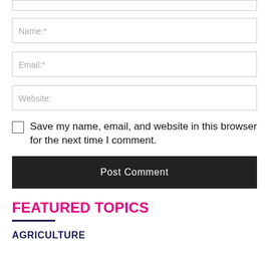[Figure (screenshot): Top edge of a textarea input box with resize handle]
Name:*
Email:*
Website:
Save my name, email, and website in this browser for the next time I comment.
Post Comment
FEATURED TOPICS
AGRICULTURE